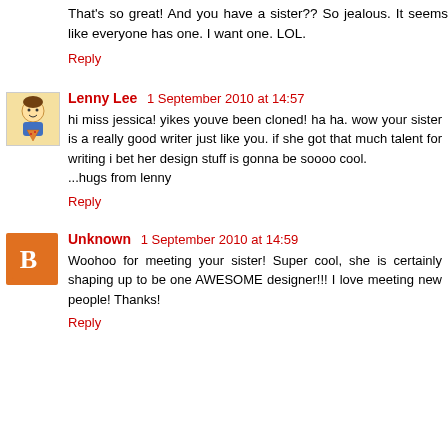That's so great! And you have a sister?? So jealous. It seems like everyone has one. I want one. LOL.
Reply
Lenny Lee  1 September 2010 at 14:57
hi miss jessica! yikes youve been cloned! ha ha. wow your sister is a really good writer just like you. if she got that much talent for writing i bet her design stuff is gonna be soooo cool.
...hugs from lenny
Reply
Unknown  1 September 2010 at 14:59
Woohoo for meeting your sister! Super cool, she is certainly shaping up to be one AWESOME designer!!! I love meeting new people! Thanks!
Reply